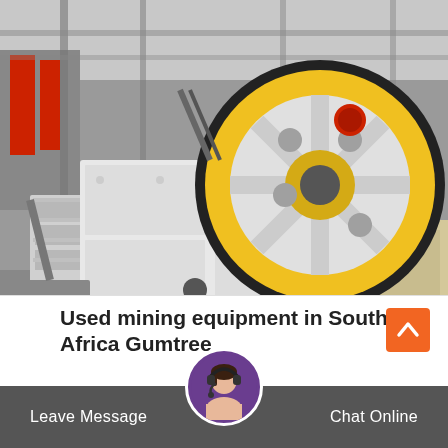[Figure (photo): Industrial jaw crusher / mining equipment with large yellow and black flywheel, white painted steel frame, photographed in a factory or quarry setting]
Used mining equipment in South Africa Gumtree
Leave Message
Chat Online